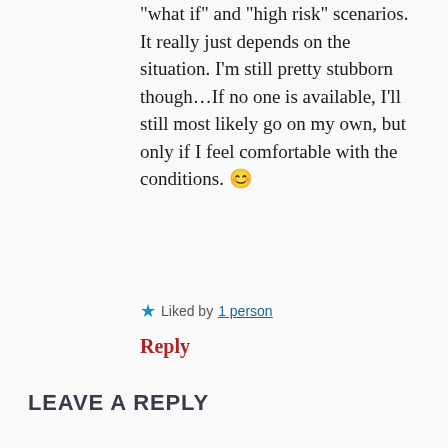“what if” and “high risk” scenarios. It really just depends on the situation. I’m still pretty stubborn though…If no one is available, I’ll still most likely go on my own, but only if I feel comfortable with the conditions. 😊
Liked by 1 person
Reply
LEAVE A REPLY
Your email address will not be published. Required fields are marked *
COMMENT *